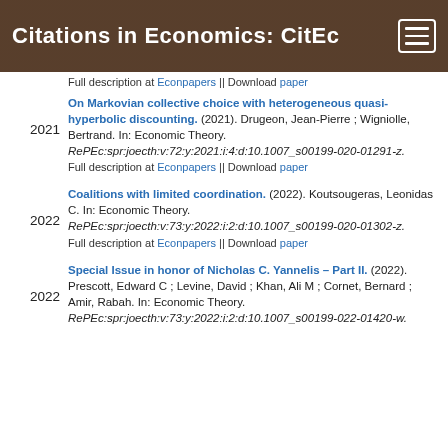Citations in Economics: CitEc
Full description at Econpapers || Download paper
On Markovian collective choice with heterogeneous quasi-hyperbolic discounting. (2021). Drugeon, Jean-Pierre ; Wigniolle, Bertrand. In: Economic Theory. RePEc:spr:joecth:v:72:y:2021:i:4:d:10.1007_s00199-020-01291-z.
Full description at Econpapers || Download paper
Coalitions with limited coordination. (2022). Koutsougeras, Leonidas C. In: Economic Theory. RePEc:spr:joecth:v:73:y:2022:i:2:d:10.1007_s00199-020-01302-z.
Full description at Econpapers || Download paper
Special Issue in honor of Nicholas C. Yannelis – Part II. (2022). Prescott, Edward C ; Levine, David ; Khan, Ali M ; Cornet, Bernard ; Amir, Rabah. In: Economic Theory. RePEc:spr:joecth:v:73:y:2022:i:2:d:10.1007_s00199-022-01420-w.